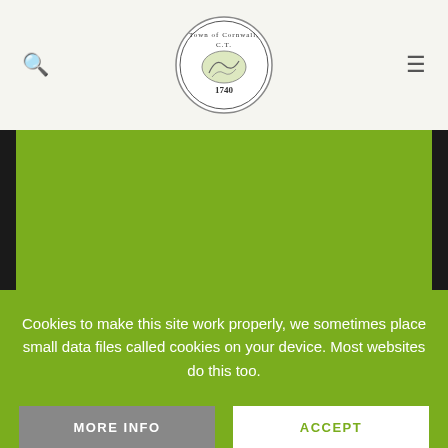Town of Cornwall, CT — navigation header with search icon, logo, and menu icon
[Figure (illustration): Green map/banner area representing Town of Cornwall map]
EXPLORE ↗
SPIRIT OF CORNWALL
Cookies to make this site work properly, we sometimes place small data files called cookies on your device. Most websites do this too.
MORE INFO
ACCEPT